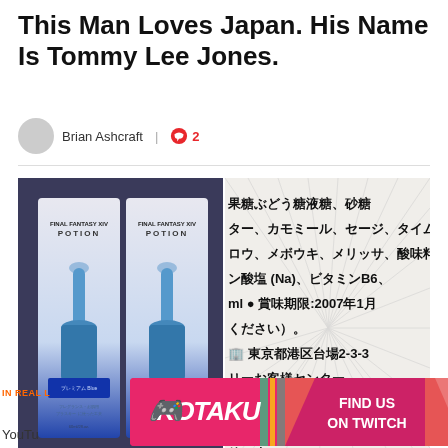This Man Loves Japan. His Name Is Tommy Lee Jones.
Brian Ashcraft  |  💬 2
[Figure (photo): Two Final Fantasy XIV Potion boxes with blue potion bottles on the left, and a close-up of Japanese text on packaging on the right showing ingredients and address information including 東京都港区台場2-3-3 and 賞味期限:2007年1月]
IN REAL L...  ARE AWAI...  YouTu...
[Figure (logo): Kotaku advertisement banner with pink/red background showing Kotaku logo and 'FIND US ON TWITCH' with geometric diagonal stripe design]